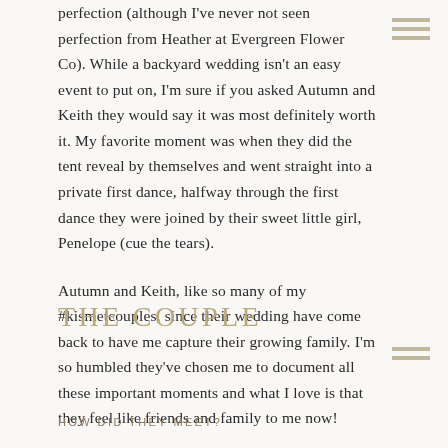perfection (although I've never not seen perfection from Heather at Evergreen Flower Co). While a backyard wedding isn't an easy event to put on, I'm sure if you asked Autumn and Keith they would say it was most definitely worth it. My favorite moment was when they did the tent reveal by themselves and went straight into a private first dance, halfway through the first dance they were joined by their sweet little girl, Penelope (cue the tears).
Autumn and Keith, like so many of my #kismetcouples, since their wedding have come back to have me capture their growing family. I'm so humbled they've chosen me to document all these important moments and what I love is that they feel like friends and family to me now!
THE COUPLE
HOW DID THEY MEET?